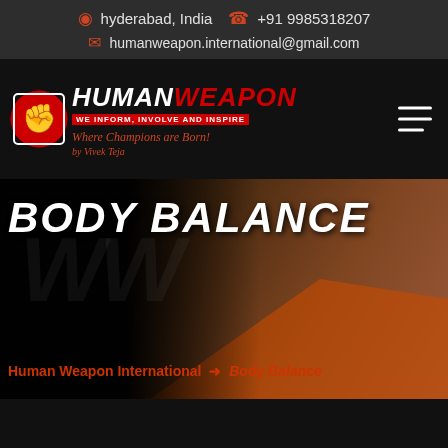hyderabad, India   +91 9985318207   humanweapon.international@gmail.com
[Figure (logo): Human Weapon International logo with red fist icon, HUMAN WEAPON brand name, tagline 'we INFORM, INVOLVE and INSPIRE', slogan 'Where Champions are Born!' and 'by Vivek Teja']
BODY BALANCE
Human Weapon International → Body Balance